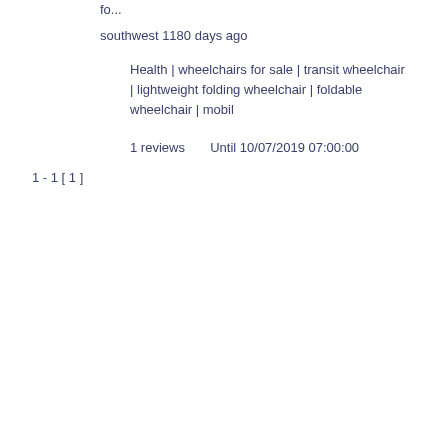fo...
southwest 1180 days ago
Health | wheelchairs for sale | transit wheelchair | lightweight folding wheelchair | foldable wheelchair | mobil
1 reviews      Until 10/07/2019 07:00:00
1 - 1 [ 1 ]